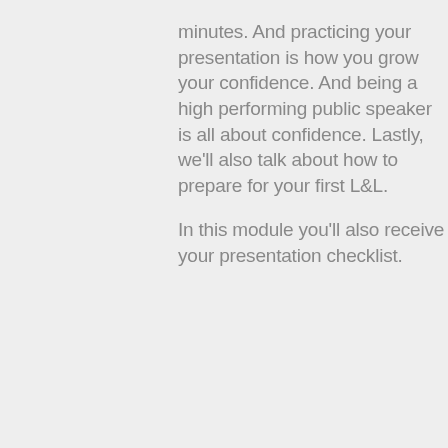minutes. And practicing your presentation is how you grow your confidence. And being a high performing public speaker is all about confidence. Lastly, we'll also talk about how to prepare for your first L&L.

In this module you'll also receive your presentation checklist.